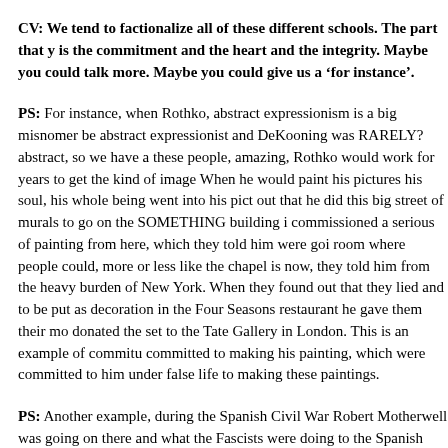CV: We tend to factionalize all of these different schools. The part that y is the commitment and the heart and the integrity. Maybe you could talk more. Maybe you could give us a 'for instance'.
PS: For instance, when Rothko, abstract expressionism is a big misnomer be abstract expressionist and DeKooning was RARELY? abstract, so we have a these people, amazing, Rothko would work for years to get the kind of image When he would paint his pictures his soul, his whole being went into his pict out that he did this big street of murals to go on the SOMETHING building i commissioned a serious of painting from here, which they told him were goi room where people could, more or less like the chapel is now, they told him from the heavy burden of New York. When they found out that they lied and to be put as decoration in the Four Seasons restaurant he gave them their mo donated the set to the Tate Gallery in London. This is an example of commitu committed to making his painting, which were committed to him under false life to making these paintings.
PS: Another example, during the Spanish Civil War Robert Motherwell was going on there and what the Fascists were doing to the Spanish Republic tha the Spanish Republic and he made it again and again and again and poured h All these people, they were crazy, they took risks. I think that's why many of